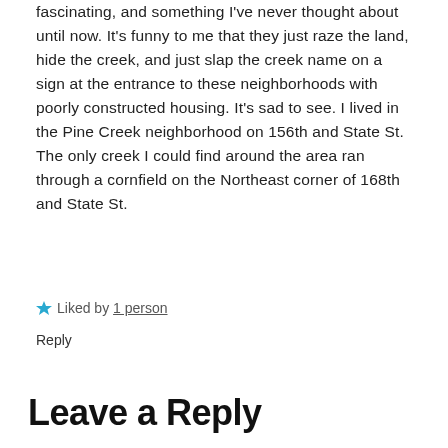fascinating, and something I've never thought about until now. It's funny to me that they just raze the land, hide the creek, and just slap the creek name on a sign at the entrance to these neighborhoods with poorly constructed housing. It's sad to see. I lived in the Pine Creek neighborhood on 156th and State St. The only creek I could find around the area ran through a cornfield on the Northeast corner of 168th and State St.
Liked by 1 person
Reply
Leave a Reply